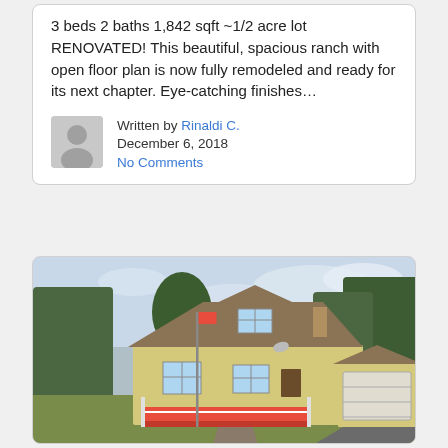3 beds 2 baths 1,842 sqft ~1/2 acre lot RENOVATED! This beautiful, spacious ranch with open floor plan is now fully remodeled and ready for its next chapter. Eye-catching finishes…
Written by Rinaldi C.
December 6, 2018
No Comments
[Figure (photo): Exterior photo of a renovated Cape Cod style house with yellow siding, red porch, attached garage, trees in background, cloudy sky]